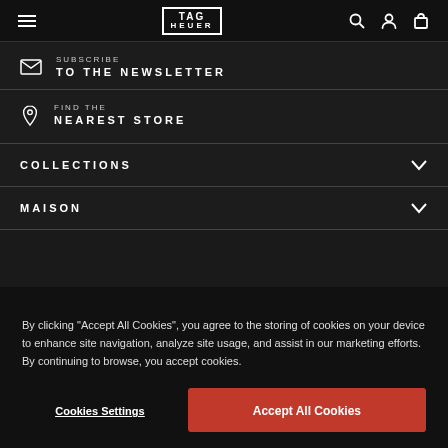TAG HEUER — navigation header with menu, logo, search, account, and bag icons
SUBSCRIBE TO THE NEWSLETTER
FIND THE NEAREST STORE
COLLECTIONS
MAISON
By clicking “Accept All Cookies”, you agree to the storing of cookies on your device to enhance site navigation, analyze site usage, and assist in our marketing efforts. By continuing to browse, you accept cookies.
Cookies Settings | Accept All Cookies